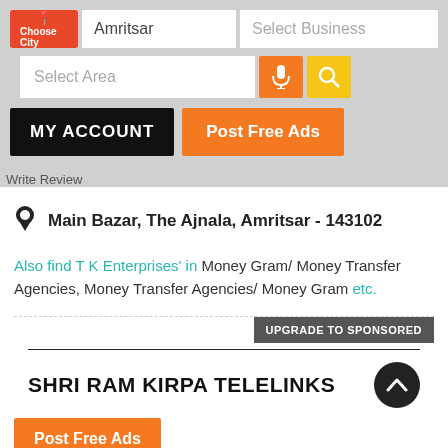[Figure (screenshot): Mobile app UI header with Choose City button, Amritsar city input, Select Business input, Select Area input, mic and search buttons]
MY ACCOUNT
Post Free Ads
Write Review
Main Bazar, The Ajnala, Amritsar - 143102
Also find T K Enterprises' in Money Gram/ Money Transfer Agencies, Money Transfer Agencies/ Money Gram etc.
UPGRADE TO SPONSORED
SHRI RAM KIRPA TELELINKS
Post Free Ads